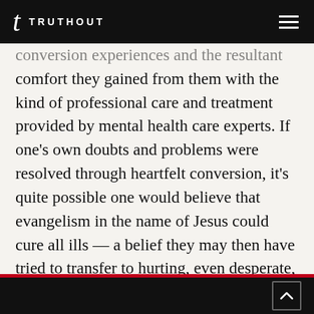t TRUTHOUT
conversion experiences and the resultant comfort they gained from them with the kind of professional care and treatment provided by mental health care experts. If one's own doubts and problems were resolved through heartfelt conversion, it's quite possible one would believe that evangelism in the name of Jesus could cure all ills — a belief they may then have tried to transfer to hurting, even desperate, troops.

Such misguided ministering, if it exists, must stop.